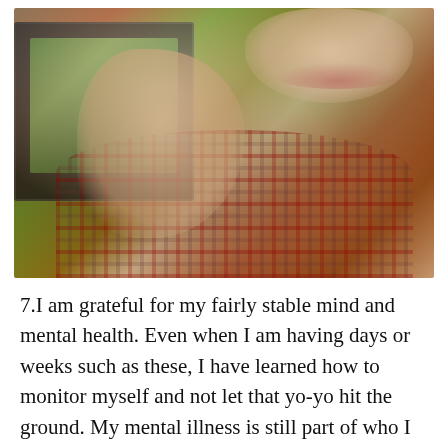[Figure (photo): A person giving a thumbs up gesture, wearing a plaid flannel shirt, with rings on fingers. A TV screen showing nature/greenery is visible in the background. The person is smiling.]
7.I am grateful for my fairly stable mind and mental health. Even when I am having days or weeks such as these, I have learned how to monitor myself and not let that yo-yo hit the ground. My mental illness is still part of who I am. Each and every day it is in my mind, but definitely a bit further back than it